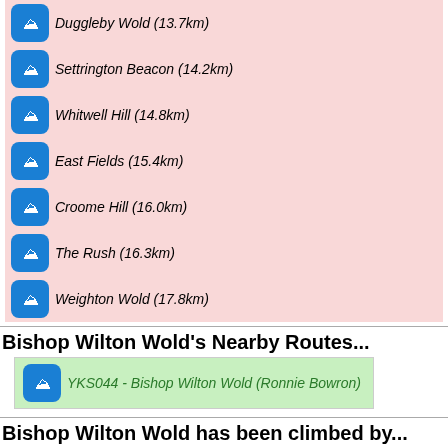Duggleby Wold (13.7km)
Settrington Beacon (14.2km)
Whitwell Hill (14.8km)
East Fields (15.4km)
Croome Hill (16.0km)
The Rush (16.3km)
Weighton Wold (17.8km)
Bishop Wilton Wold's Nearby Routes...
YKS044 - Bishop Wilton Wold (Ronnie Bowron)
Bishop Wilton Wold has been climbed by...
adoling
Adrian
On this page: Top , Hill Info , Map , Comments , Other Hills , Near Routes , Hill Baggers , Bottom